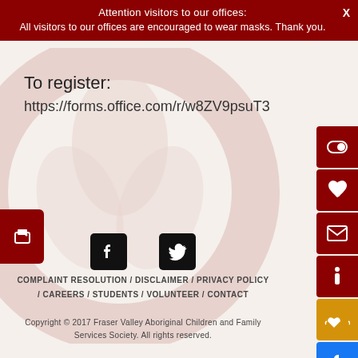Attention visitors to our offices:
All visitors to our offices are encouraged to wear masks. Thank you.
To register:
https://forms.office.com/r/w8ZV9psuT3
[Figure (other): Social media icons: Facebook and Twitter logos in black squares]
COMPLAINT RESOLUTION / DISCLAIMER / PRIVACY POLICY / CAREERS / STUDENTS / VOLUNTEER / CONTACT
Copyright © 2017 Fraser Valley Aboriginal Children and Family Services Society. All rights reserved.